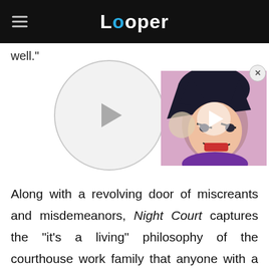Looper
well."
[Figure (other): Circular play button placeholder (gray circle with play triangle)]
[Figure (screenshot): Anime character (Dragon Ball style) with angry expression, purple/pink background, with white play button overlay]
Along with a revolving door of miscreants and misdemeanors, Night Court captures the "it's a living" philosophy of the courthouse work family that anyone with a workaday job might recognize. The